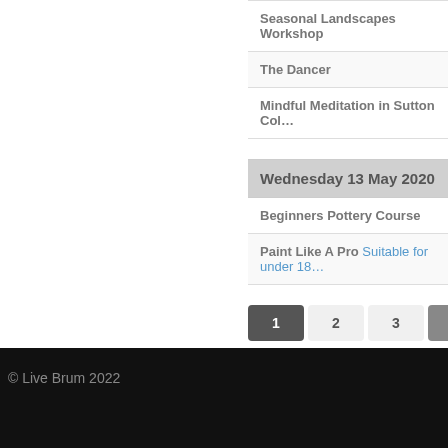Seasonal Landscapes Workshop
The Dancer
Mindful Meditation in Sutton Col…
Wednesday 13 May 2020
Beginners Pottery Course
Paint Like A Pro  Suitable for under 18…
1  2  3  Next  Last
< Apr 2020
© Live Brum 2022